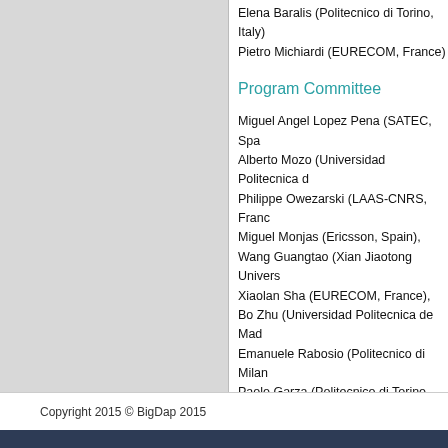Elena Baralis (Politecnico di Torino, Italy)
Pietro Michiardi (EURECOM, France)
Program Committee
Miguel Angel Lopez Pena (SATEC, Spa…
Alberto Mozo (Universidad Politecnica d…
Philippe Owezarski (LAAS-CNRS, Franc…
Miguel Monjas (Ericsson, Spain),
Wang Guangtao (Xian Jiaotong Univers…
Xiaolan Sha (EURECOM, France),
Bo Zhu (Universidad Politecnica de Mad…
Emanuele Rabosio (Politecnico di Milan…
Paolo Garza (Politecnico di Torino, Italy)
Luca Cagliero (Politecnico di Torino, Ital…
Contact Information
If you have any question or information…
Copyright 2015 © BigDap 2015